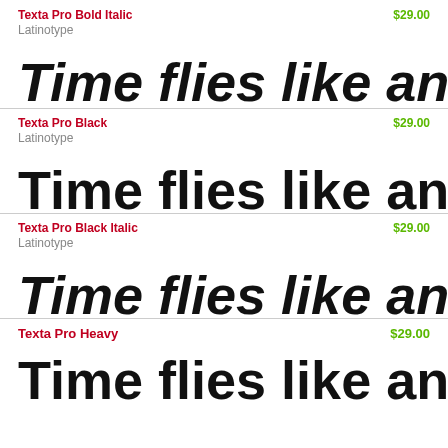Texta Pro Bold Italic — $29.00 — Latinotype
Time flies like an arro
Texta Pro Black — $29.00 — Latinotype
Time flies like an arro
Texta Pro Black Italic — $29.00 — Latinotype
Time flies like an arro
Texta Pro Heavy — $29.00